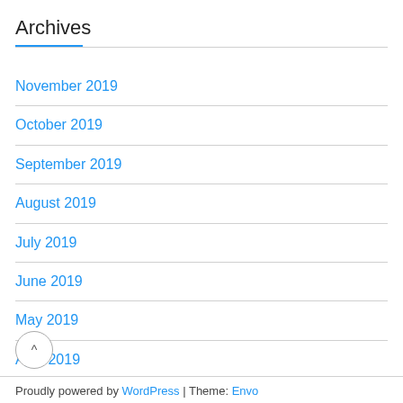Archives
November 2019
October 2019
September 2019
August 2019
July 2019
June 2019
May 2019
April 2019
March 2019
Proudly powered by WordPress | Theme: Envo